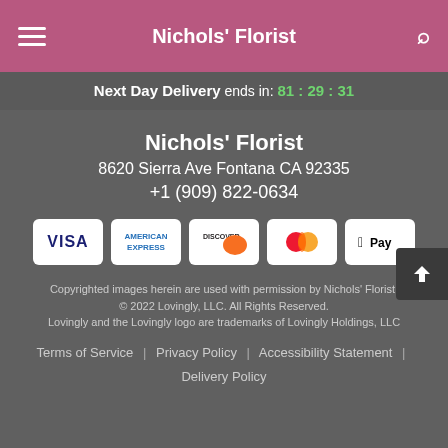Nichols' Florist
Next Day Delivery ends in: 81 : 29 : 31
Nichols' Florist
8620 Sierra Ave Fontana CA 92335
+1 (909) 822-0634
[Figure (other): Payment method logos: Visa, American Express, Discover, Mastercard, Apple Pay]
Copyrighted images herein are used with permission by Nichols' Florist.
© 2022 Lovingly, LLC. All Rights Reserved.
Lovingly and the Lovingly logo are trademarks of Lovingly Holdings, LLC
Terms of Service | Privacy Policy | Accessibility Statement | Delivery Policy